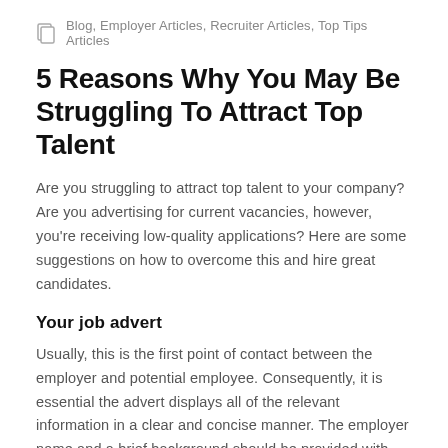Blog, Employer Articles, Recruiter Articles, Top Tips Articles
5 Reasons Why You May Be Struggling To Attract Top Talent
Are you struggling to attract top talent to your company? Are you advertising for current vacancies, however, you're receiving low-quality applications? Here are some suggestions on how to overcome this and hire great candidates.
Your job advert
Usually, this is the first point of contact between the employer and potential employee. Consequently, it is essential the advert displays all of the relevant information in a clear and concise manner. The employer name and a brief background should be provided with additional information on the position, role requirements and skills and experience necessary to be considered. Present this in a bullet point form, to allow the job seeker to quickly scan through the